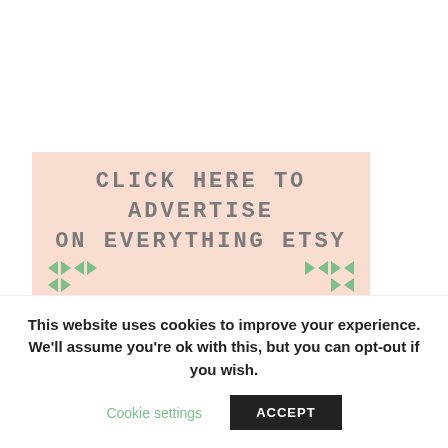[Figure (other): Advertisement banner with peach/salmon background reading 'CLICK HERE TO ADVERTISE ON EVERYTHING ETSY' in grey uppercase monospace font, decorated with green triangle arrows on sides]
Disclosure: Various posts and pages on this site include affiliate links. We could earn a referral fee if you make a purchase through those links. Your purchase won't cost you more because you followed our link and we only
This website uses cookies to improve your experience. We'll assume you're ok with this, but you can opt-out if you wish.
Cookie settings
ACCEPT